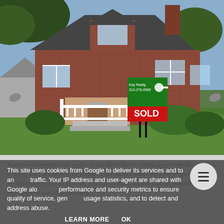[Figure (photo): A brick house with a white porch railing and steps, lush green lawn in the foreground. A real estate sign in the yard displays a green agency sign with a key logo and a red 'SOLD' banner. Trees visible in the background.]
You are well within your rights to ask the seller or letting agent why the property is being sold. It can also be helpful if the seller's plans with the property should be disclosed to you so you can find out as much information as possible. Asking this question can also determin...
This site uses cookies from Google to deliver its services and to analyze traffic. Your IP address and user-agent are shared with Google along with performance and security metrics to ensure quality of service, generate usage statistics, and to detect and address abuse.
LEARN MORE    OK